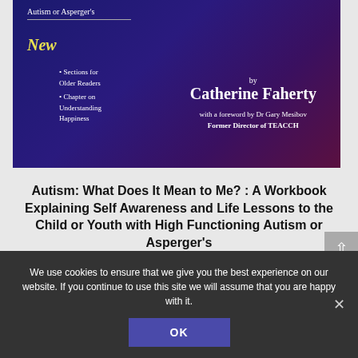[Figure (photo): Book cover of 'Autism: What Does It Mean to Me?' by Catherine Faherty, dark blue/purple background, with 'New' in yellow italic, bullet points listing new sections, and author/foreword info on the right.]
Autism: What Does It Mean to Me? : A Workbook Explaining Self Awareness and Life Lessons to the Child or Youth with High Functioning Autism or Asperger's
We use cookies to ensure that we give you the best experience on our website. If you continue to use this site we will assume that you are happy with it.
OK